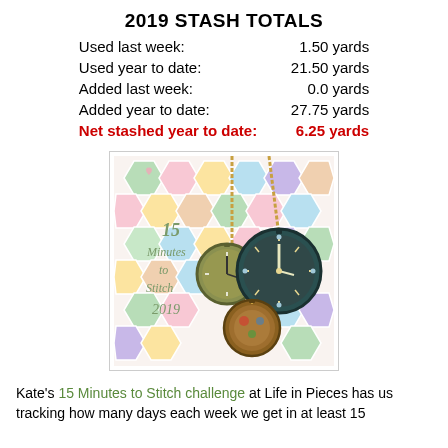2019 STASH TOTALS
| Used last week: | 1.50 yards |
| Used year to date: | 21.50 yards |
| Added last week: | 0.0 yards |
| Added year to date: | 27.75 yards |
| Net stashed year to date: | 6.25 yards |
[Figure (illustration): 15 Minutes to Stitch 2019 cross-stitch challenge logo showing three pocket watches on chains against a patchwork hexagon background]
Kate's 15 Minutes to Stitch challenge at Life in Pieces has us tracking how many days each week we get in at least 15